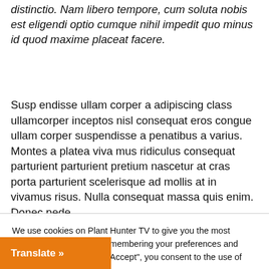distinctio. Nam libero tempore, cum soluta nobis est eligendi optio cumque nihil impedit quo minus id quod maxime placeat facere.
Susp endisse ullam corper a adipiscing class ullamcorper inceptos nisl consequat eros congue ullam corper suspendisse a penatibus a varius. Montes a platea viva mus ridiculus consequat parturient parturient pretium nascetur at cras porta parturient scelerisque ad mollis at in vivamus risus. Nulla consequat massa quis enim. Donec pede...
We use cookies on Plant Hunter TV to give you the most relevant experience by remembering your preferences and repeat visits. By clicking “Accept”, you consent to the use of ALL the cookies. Do not sell my personal information.
Cookie settings
ACCEPT
Translate »